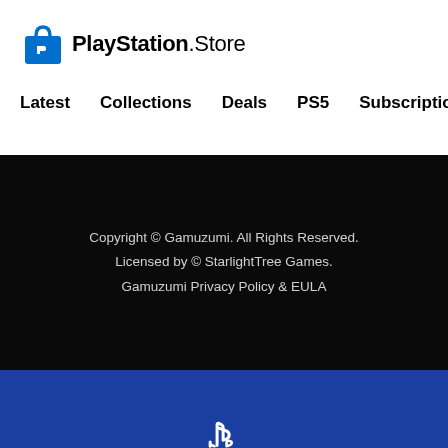[Figure (logo): PlayStation Store logo with shopping bag icon]
Latest   Collections   Deals   PS5   Subscriptions >
Copyright © Gamuzumi. All Rights Reserved.
Licensed by © StarlightTree Games.
Gamuzumi Privacy Policy & EULA
[Figure (logo): PlayStation logo white on blue background]
Country/Region : United Kingdom >